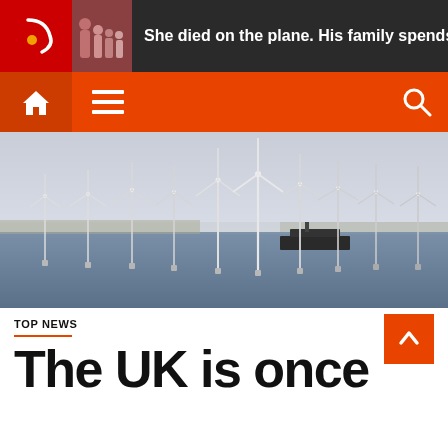She died on the plane. His family spends 8 hours
[Figure (screenshot): Navigation bar with home icon, menu icon, and search icon on orange background]
[Figure (photo): Offshore wind farm with multiple wind turbines in the sea, a ship visible in the background, hazy sky]
TOP NEWS
The UK is once